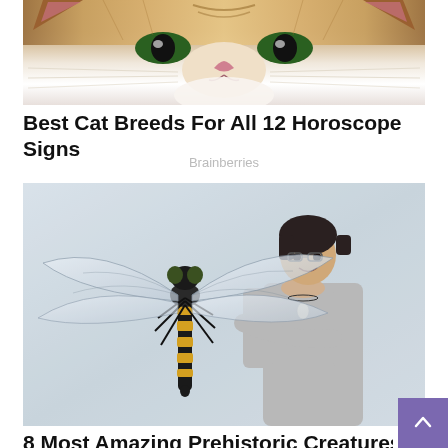[Figure (photo): Close-up photo of a cat's face from below, showing whiskers and nose, brown/tan tabby coloring]
Best Cat Breeds For All 12 Horoscope Signs
Brainberries
[Figure (photo): Photo of a woman in a gray long-sleeve shirt holding a very large dragonfly model or prop against a light gray wall]
8 Most Amazing Prehistoric Creatures That Roamed Earth!
Brainberries